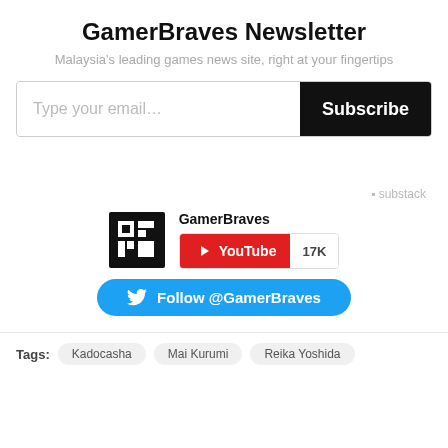GamerBraves Newsletter
Malaysia's leading games news site, right at your fingertips
[Figure (screenshot): Email subscription input field with placeholder 'Type your email...' and a black Subscribe button]
[Figure (logo): GamerBraves logo - black square with white G icon and text GAMERBRAVES]
GamerBraves
[Figure (infographic): YouTube subscribe badge with red YouTube button showing play icon and text 'YouTube', and grey count showing 17K]
[Figure (infographic): Blue rounded button with Twitter bird icon and text 'Follow @GamerBraves']
Tags: Kadocasha  Mai Kurumi  Reika Yoshida